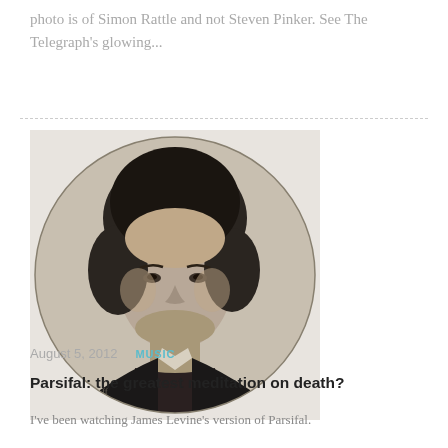photo is of Simon Rattle and not Steven Pinker. See The Telegraph's glowing...
[Figure (photo): Black and white engraved portrait of a middle-aged man with dark curly hair, wearing a dark jacket with a cravat, shown from the chest up, oval vignette style illustration — likely Richard Wagner.]
August 5, 2012   MUSIC
Parsifal: the greatest meditation on death?
I've been watching James Levine's version of Parsifal.